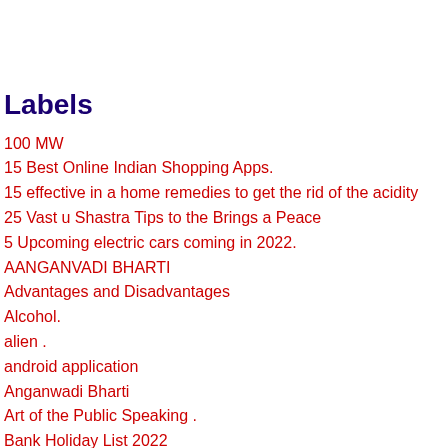Labels
100 MW
15 Best Online Indian Shopping Apps.
15 effective in a home remedies to get the rid of the acidity
25 Vast u Shastra Tips to the Brings a Peace
5 Upcoming electric cars coming in 2022.
AANGANVADI BHARTI
Advantages and Disadvantages
Alcohol.
alien .
android application
Anganwadi Bharti
Art of the Public Speaking .
Bank Holiday List 2022